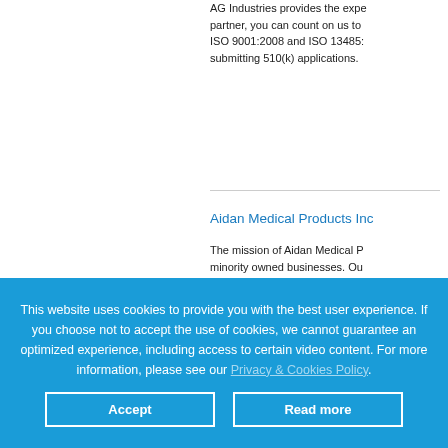AG Industries provides the experience of a full-service partner, you can count on us to deliver. We are certified to ISO 9001:2008 and ISO 13485: and have experience in submitting 510(k) applications.
Aidan Medical Products Inc
The mission of Aidan Medical Products is to support minority owned businesses. Our products include products, carts, patient transport products, and other products. Aidan's in-house design
This website uses cookies to provide you with the best user experience. If you choose not to accept the use of cookies, we cannot guarantee an optimized experience, including access to certain video content. For more information, please see our Privacy & Cookies Policy.
Accept
Read more